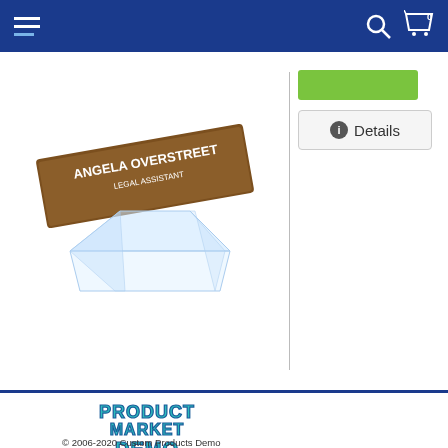Navigation bar with hamburger menu, search icon, and cart (0)
[Figure (photo): Product photo of a wooden desk nameplate reading 'ANGELA OVERSTREET LEGAL ASSISTANT' with a clear acrylic nameplate holder in front]
[Figure (other): Green button and Details button with info icon on product page right column]
[Figure (logo): Product Market Demo logo in teal/blue bubble lettering]
© 2006-2020 Custom Products Demo
Home
Privacy Policy
Badge Sign Types
Shopping Cart
About Us
Request a Quote
Your Account
Art Submission
Shipping Policy